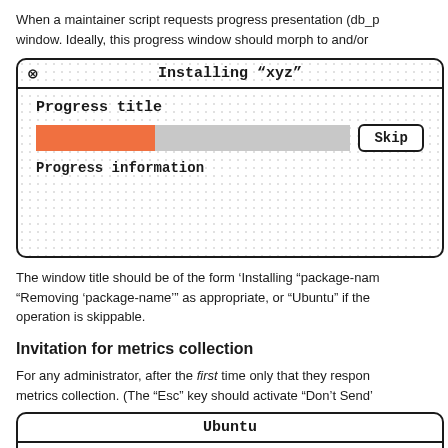When a maintainer script requests progress presentation (db_p window. Ideally, this progress window should morph to and/or
[Figure (screenshot): Mockup of an installation progress window titled 'Installing "xyz"' with a progress bar (orange fill ~38%, gray remainder), a Skip button, Progress title label, and Progress information label below.]
The window title should be of the form 'Installing "package-nam "Removing 'package-name'" as appropriate, or "Ubuntu" if the operation is skippable.
Invitation for metrics collection
For any administrator, after the first time only that they respon metrics collection. (The "Esc" key should activate "Don't Send'
[Figure (screenshot): Bottom portion of a mockup window titled 'Ubuntu' (partially visible).]